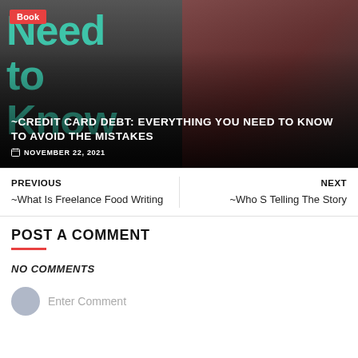[Figure (photo): Hero image of a woman in a red dress holding credit cards, with teal text 'Need to Know' in the background and a dark gradient overlay. Orange 'Book' badge top-left.]
~CREDIT CARD DEBT: EVERYTHING YOU NEED TO KNOW TO AVOID THE MISTAKES
NOVEMBER 22, 2021
PREVIOUS
~What Is Freelance Food Writing
NEXT
~Who S Telling The Story
POST A COMMENT
NO COMMENTS
Enter Comment